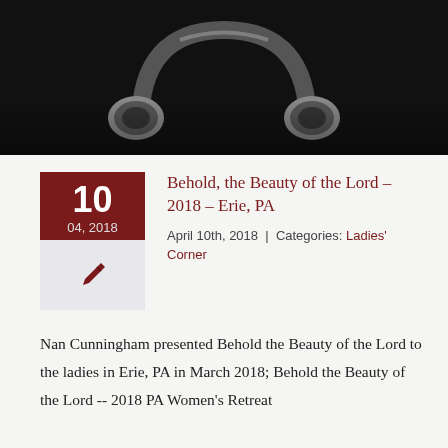[Figure (photo): Dark background with silver/black over-ear headphones (Beats style), photographed from above on a black surface]
Behold, the Beauty of the Lord – 2018 – Erie, PA
April 10th, 2018 | Categories: Ladies' Corner
Nan Cunningham presented Behold the Beauty of the Lord to the ladies in Erie, PA in March 2018; Behold the Beauty of the Lord -- 2018 PA Women's Retreat